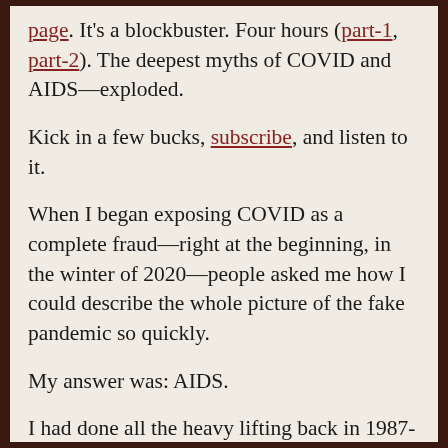page. It's a blockbuster. Four hours (part-1, part-2). The deepest myths of COVID and AIDS—exploded.
Kick in a few bucks, subscribe, and listen to it.
When I began exposing COVID as a complete fraud—right at the beginning, in the winter of 2020—people asked me how I could describe the whole picture of the fake pandemic so quickly.
My answer was: AIDS.
I had done all the heavy lifting back in 1987-88, which resulted in my first book, AIDS INC., SCANDAL OF THE CENTURY